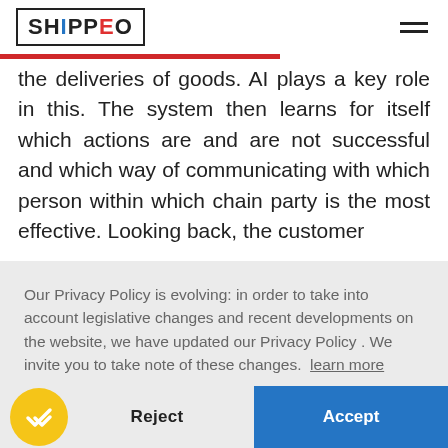SHIPPEO
the deliveries of goods. AI plays a key role in this. The system then learns for itself which actions are and are not successful and which way of communicating with which person within which chain party is the most effective. Looking back, the customer
Our Privacy Policy is evolving: in order to take into account legislative changes and recent developments on the website, we have updated our Privacy Policy . We invite you to take note of these changes.  learn more
Reject
Accept